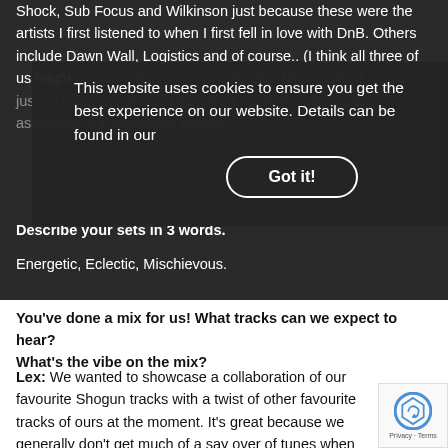Shock, Sub Focus and Wilkinson just because these were the artists I first listened to when I first fell in love with DnB. Others include Dawn Wall, Logistics and of course.. (I think all three of us might agree on this one) Technimatic. Their style of music is just so much my cup of tea. I love their euphoric introductions and samples of inspirational quotes.
This website uses cookies to ensure you get the best experience on our website. Details can be found in our Privacy Policy  Got it!
Describe your sets in 3 words.
Energetic, Eclectic, Mischievous.
You've done a mix for us! What tracks can we expect to hear? What's the vibe on the mix?
Lex: We wanted to showcase a collaboration of our favourite Shogun tracks with a twist of other favourite tracks of ours at the moment. It's great because we generally don't get much of a say over of tunes when preparing for a set which means we play more variety.